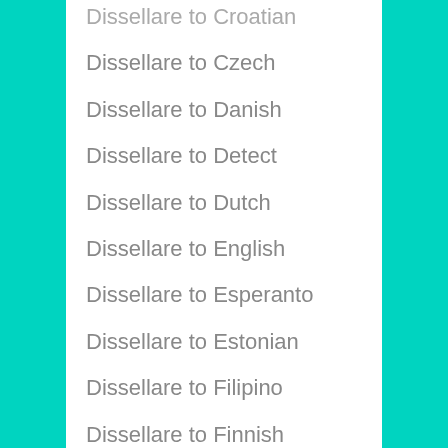Dissellare to Croatian
Dissellare to Czech
Dissellare to Danish
Dissellare to Detect
Dissellare to Dutch
Dissellare to English
Dissellare to Esperanto
Dissellare to Estonian
Dissellare to Filipino
Dissellare to Finnish
Dissellare to French
Dissellare to Frisian
Dissellare to Galician
Dissellare to Georgian